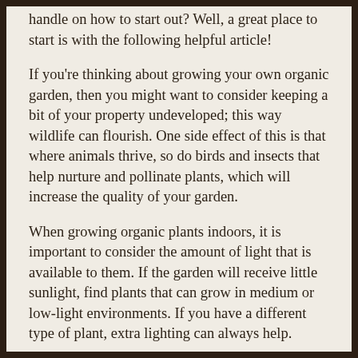handle on how to start out? Well, a great place to start is with the following helpful article!
If you're thinking about growing your own organic garden, then you might want to consider keeping a bit of your property undeveloped; this way wildlife can flourish. One side effect of this is that where animals thrive, so do birds and insects that help nurture and pollinate plants, which will increase the quality of your garden.
When growing organic plants indoors, it is important to consider the amount of light that is available to them. If the garden will receive little sunlight, find plants that can grow in medium or low-light environments. If you have a different type of plant, extra lighting can always help.
When a seed actually sprouts, it doesn't need to be